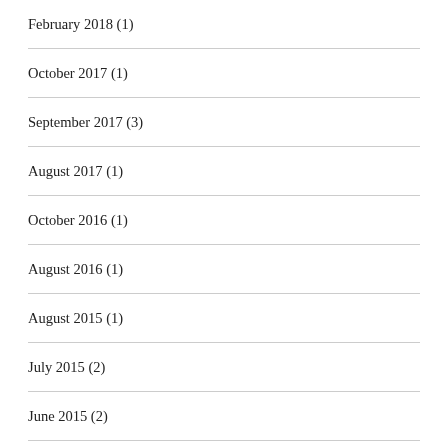February 2018 (1)
October 2017 (1)
September 2017 (3)
August 2017 (1)
October 2016 (1)
August 2016 (1)
August 2015 (1)
July 2015 (2)
June 2015 (2)
May 2015 (2)
April 2015 (1)